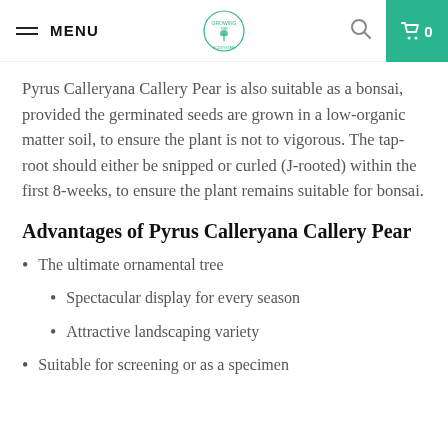MENU [logo] [search] [cart 0]
Pyrus Calleryana Callery Pear is also suitable as a bonsai, provided the germinated seeds are grown in a low-organic matter soil, to ensure the plant is not to vigorous. The tap-root should either be snipped or curled (J-rooted) within the first 8-weeks, to ensure the plant remains suitable for bonsai.
Advantages of Pyrus Calleryana Callery Pear
The ultimate ornamental tree
Spectacular display for every season
Attractive landscaping variety
Suitable for screening or as a specimen